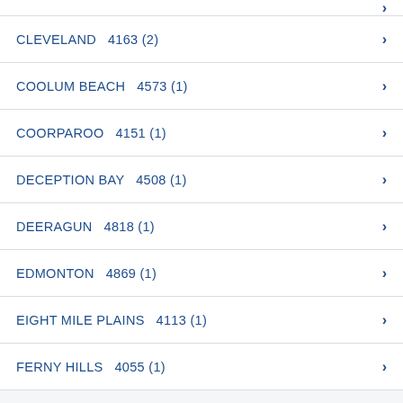CLEVELAND  4163 (2)
COOLUM BEACH  4573 (1)
COORPAROO  4151 (1)
DECEPTION BAY  4508 (1)
DEERAGUN  4818 (1)
EDMONTON  4869 (1)
EIGHT MILE PLAINS  4113 (1)
FERNY HILLS  4055 (1)